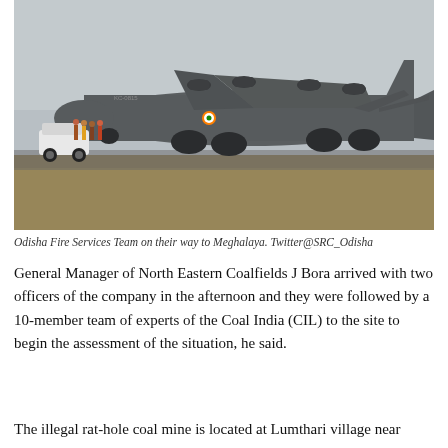[Figure (photo): A large military transport aircraft (C-130 Hercules) parked on a tarmac/airfield with dry grass in the foreground and people and a white car visible to its left side. Overcast sky in the background.]
Odisha Fire Services Team on their way to Meghalaya. Twitter@SRC_Odisha
General Manager of North Eastern Coalfields J Bora arrived with two officers of the company in the afternoon and they were followed by a 10-member team of experts of the Coal India (CIL) to the site to begin the assessment of the situation, he said.
The illegal rat-hole coal mine is located at Lumthari village near Khlehriat the headquarters of East Jaintia Hills district, Cr...